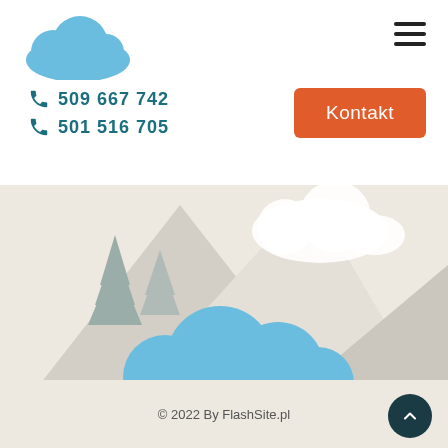[Figure (logo): Blue cloud logo in the top left]
[Figure (illustration): Hamburger menu icon (three horizontal lines) in the top right]
509 667 742
501 516 705
Kontakt
[Figure (illustration): Scenic mountain and cloud illustration with blue cloud, pine trees, white cloud, beige background]
© 2022 By FlashSite.pl